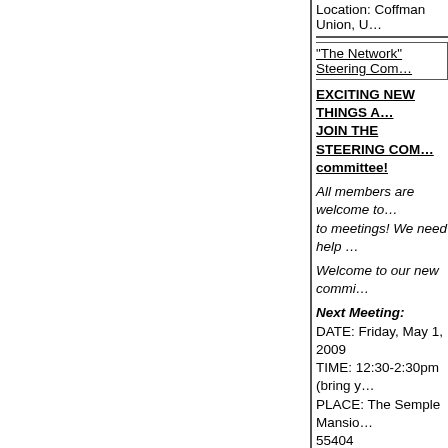Location: Coffman Union, U…
"The Network" Steering Com…
EXCITING NEW THINGS A… JOIN THE STEERING COM… committee!
All members are welcome to… to meetings!  We need help …
Welcome to our new commi…
Next Meeting:
DATE: Friday, May 1, 2009
TIME: 12:30-2:30pm (bring y…
PLACE: The Semple Mansio…
55404
Located across from the Ply…
in the Plymouth Congregatio…
welcome!
Steering Committee Agenda…
Conference Planning Comm…
12:30-1:00: The Network Bu…

1-2:30: Planning Meeting fo…
(coordinated by the MN.LGB…
help of other UM & other me…
Participate in one or all of fo…